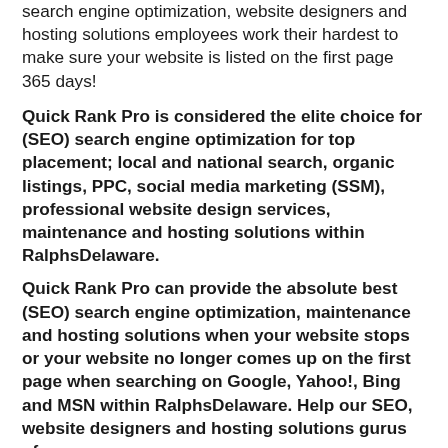search engine optimization, website designers and hosting solutions employees work their hardest to make sure your website is listed on the first page 365 days!
Quick Rank Pro is considered the elite choice for (SEO) search engine optimization for top placement; local and national search, organic listings, PPC, social media marketing (SSM), professional website design services, maintenance and hosting solutions within RalphsDelaware.
Quick Rank Pro can provide the absolute best (SEO) search engine optimization, maintenance and hosting solutions when your website stops or your website no longer comes up on the first page when searching on Google, Yahoo!, Bing and MSN within RalphsDelaware. Help our SEO, website designers and hosting solutions gurus of